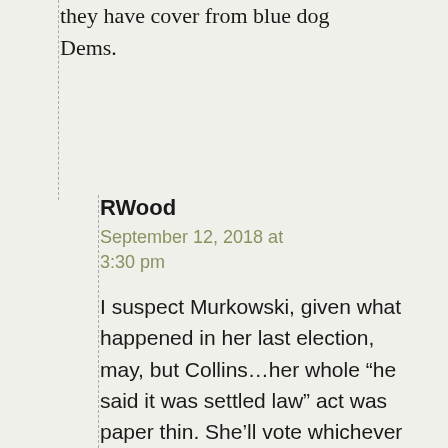they have cover from blue dog Dems.
RWood
September 12, 2018 at 3:30 pm
I suspect Murkowski, given what happened in her last election, may, but Collins…her whole “he said it was settled law” act was paper thin. She’ll vote whichever way the polital wind tells her to.